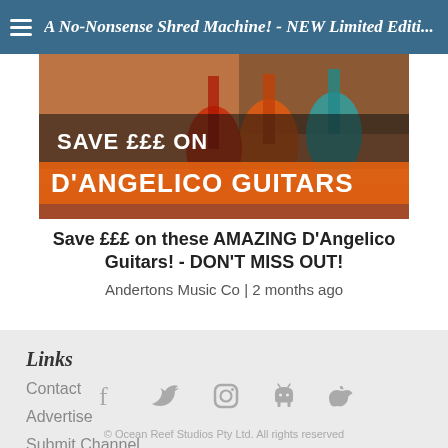A No-Nonsense Shred Machine! - NEW Limited Editi...
[Figure (photo): Promotional banner image showing guitars with text 'SAVE £££ ON D'ANGELICO GUITARS' overlaid in orange and white bold lettering]
Save £££ on these AMAZING D'Angelico Guitars! - DON'T MISS OUT!
Andertons Music Co | 2 months ago
Links
Contact
Advertise
Submit Channel
[Figure (infographic): Social media icons row: Facebook, Twitter, Instagram, Android, Apple]
© Ocean Reef Studios Pty Ltd. All rights reserved